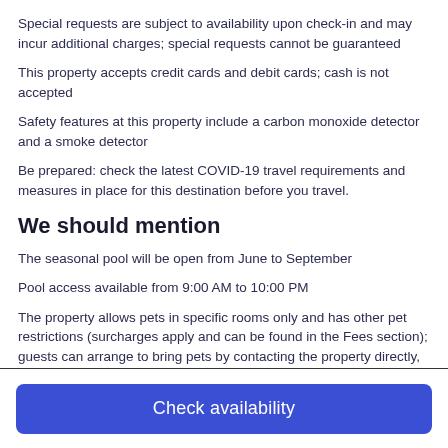Special requests are subject to availability upon check-in and may incur additional charges; special requests cannot be guaranteed
This property accepts credit cards and debit cards; cash is not accepted
Safety features at this property include a carbon monoxide detector and a smoke detector
Be prepared: check the latest COVID-19 travel requirements and measures in place for this destination before you travel.
We should mention
The seasonal pool will be open from June to September
Pool access available from 9:00 AM to 10:00 PM
The property allows pets in specific rooms only and has other pet restrictions (surcharges apply and can be found in the Fees section); guests can arrange to bring pets by contacting the property directly, using the contact information on the booking confirmation
Check availability